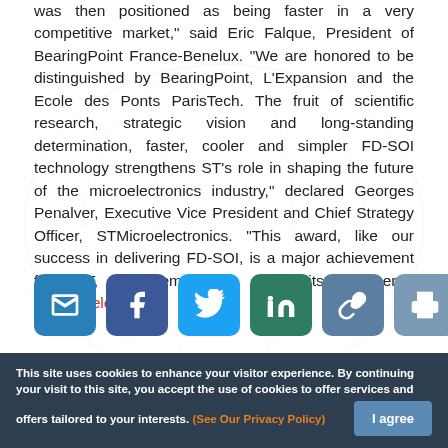was then positioned as being faster in a very competitive market," said Eric Falque, President of BearingPoint France-Benelux. "We are honored to be distinguished by BearingPoint, L'Expansion and the Ecole des Ponts ParisTech. The fruit of scientific research, strategic vision and long-standing determination, faster, cooler and simpler FD-SOI technology strengthens ST's role in shaping the future of the microelectronics industry," declared Georges Penalver, Executive Vice President and Chief Strategy Officer, STMicroelectronics. "This award, like our success in delivering FD-SOI, is a major achievement for ST, its employees and its partners." STMicroelectronics
[Figure (infographic): Row of 6 social sharing buttons: email (blue), Facebook (dark blue), Twitter (light blue), LinkedIn (teal), link/copy (grey-blue), print (grey-blue)]
RELATED
This site uses cookies to enhance your visitor experience. By continuing your visit to this site, you accept the use of cookies to offer services and offers tailored to your interests. (See Our Privacy Policy)  I agree